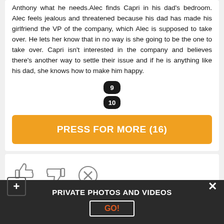Anthony what he needs.Alec finds Capri in his dad's bedroom. Alec feels jealous and threatened because his dad has made his girlfriend the VP of the company, which Alec is supposed to take over. He lets her know that in no way is she going to be the one to take over. Capri isn't interested in the company and believes there's another way to settle their issue and if he is anything like his dad, she knows how to make him happy.
[Figure (other): Two dark rounded badge-style page number indicators showing '9' and '10' stacked vertically]
[Figure (other): Orange button labeled PRESS FOR MORE (16)]
[Figure (other): Rating row with thumbs up icon, thumbs down icon, and X icon. 73% shown below thumbs up.]
[Figure (other): Dark bottom bar with plus icon on left, text PRIVATE PHOTOS AND VIDEOS in center, X on right, and a GO! button below the text]